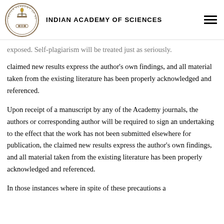INDIAN ACADEMY OF SCIENCES
exposed. Self-plagiarism will be treated just as seriously. claimed new results express the author's own findings, and all material taken from the existing literature has been properly acknowledged and referenced.
Upon receipt of a manuscript by any of the Academy journals, the authors or corresponding author will be required to sign an undertaking to the effect that the work has not been submitted elsewhere for publication, the claimed new results express the author's own findings, and all material taken from the existing literature has been properly acknowledged and referenced.
In those instances where in spite of these precautions a